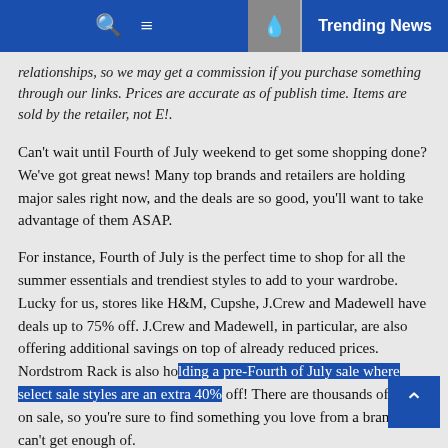Trending News
relationships, so we may get a commission if you purchase something through our links. Prices are accurate as of publish time. Items are sold by the retailer, not E!.
Can't wait until Fourth of July weekend to get some shopping done? We've got great news! Many top brands and retailers are holding major sales right now, and the deals are so good, you'll want to take advantage of them ASAP.
For instance, Fourth of July is the perfect time to shop for all the summer essentials and trendiest styles to add to your wardrobe. Lucky for us, stores like H&M, Cupshe, J.Crew and Madewell have deals up to 75% off. J.Crew and Madewell, in particular, are also offering additional savings on top of already reduced prices. Nordstrom Rack is also holding a pre-Fourth of July sale where select sale styles are an extra 40% off! There are thousands of items on sale, so you're sure to find something you love from a brand you can't get enough of.